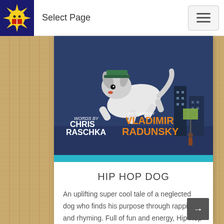Select Page
[Figure (illustration): Book cover of Hip Hop Dog showing a cartoon dog leaping, with text 'WORDS BY CHRIS RASCHKA' and 'PICTURES BY VLADIMIR RADUNSKY' on a dark blue background]
HIP HOP DOG
An uplifting super cool tale of a neglected dog who finds his purpose through rapping and rhyming. Full of fun and energy, Hip Hop Dog is a all round winner. | By Chris Raschka and Vladimir Dadunsky | AGES 4-8